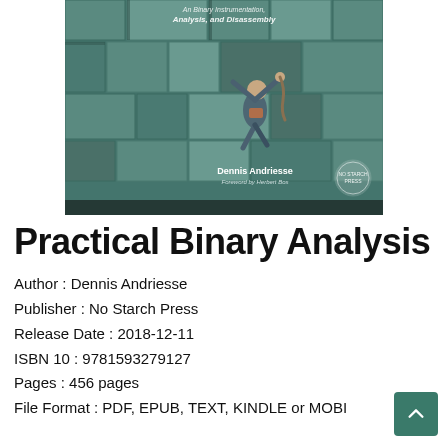[Figure (illustration): Book cover of 'Practical Binary Analysis' showing a person climbing stone/concrete maze-like structure, with text 'An Binary Instrumentation, Analysis, and Disassembly', author Dennis Andriesse, Foreword by Herbert Bos, No Starch Press logo]
Practical Binary Analysis
Author : Dennis Andriesse
Publisher : No Starch Press
Release Date : 2018-12-11
ISBN 10 : 9781593279127
Pages : 456 pages
File Format : PDF, EPUB, TEXT, KINDLE or MOBI